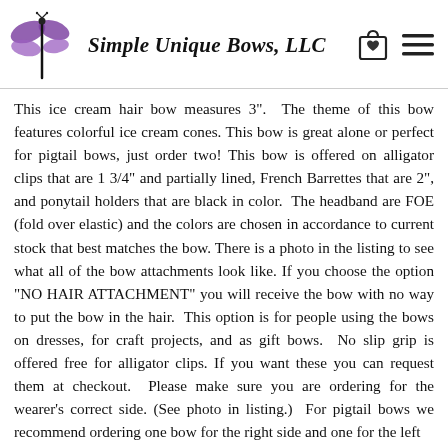[Figure (logo): Simple Unique Bows LLC logo with a purple dragonfly illustration on the left, bold italic text 'Simple Unique Bows, LLC' in the center, a shopping bag icon and a hamburger menu icon on the right]
This ice cream hair bow measures 3".  The theme of this bow features colorful ice cream cones. This bow is great alone or perfect for pigtail bows, just order two! This bow is offered on alligator clips that are 1 3/4" and partially lined, French Barrettes that are 2", and ponytail holders that are black in color.  The headband are FOE (fold over elastic) and the colors are chosen in accordance to current stock that best matches the bow. There is a photo in the listing to see what all of the bow attachments look like. If you choose the option "NO HAIR ATTACHMENT" you will receive the bow with no way to put the bow in the hair.  This option is for people using the bows on dresses, for craft projects, and as gift bows.  No slip grip is offered free for alligator clips. If you want these you can request them at checkout.  Please make sure you are ordering for the wearer's correct side. (See photo in listing.)  For pigtail bows we recommend ordering one bow for the right side and one for the left